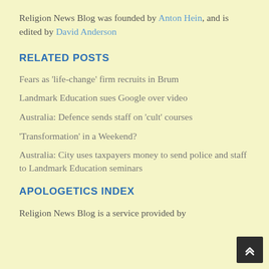Religion News Blog was founded by Anton Hein, and is edited by David Anderson
RELATED POSTS
Fears as 'life-change' firm recruits in Brum
Landmark Education sues Google over video
Australia: Defence sends staff on 'cult' courses
'Transformation' in a Weekend?
Australia: City uses taxpayers money to send police and staff to Landmark Education seminars
APOLOGETICS INDEX
Religion News Blog is a service provided by